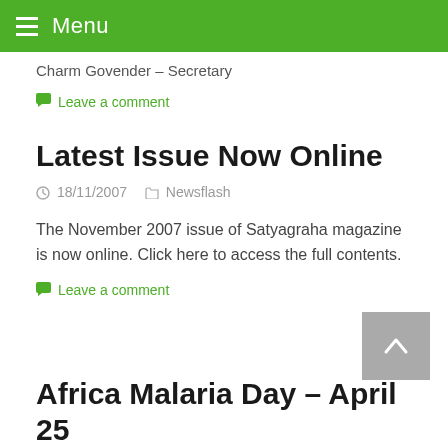Menu
Charm Govender – Secretary
Leave a comment
Latest Issue Now Online
18/11/2007   Newsflash
The November 2007 issue of Satyagraha magazine is now online. Click here to access the full contents.
Leave a comment
Africa Malaria Day – April 25